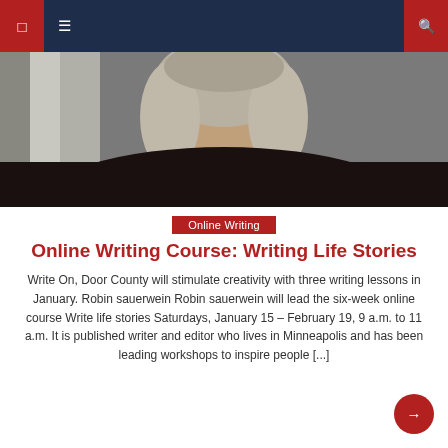Navigation bar with menu icons and search
[Figure (photo): Close-up photo of a woman with gray/blonde hair wearing a dark top with a necklace, photographed from neck up]
Online Writing
Online Writing Course: Writing Life Stories
Write On, Door County will stimulate creativity with three writing lessons in January. Robin sauerwein Robin sauerwein will lead the six-week online course Write life stories Saturdays, January 15 – February 19, 9 a.m. to 11 a.m. It is published writer and editor who lives in Minneapolis and has been leading workshops to inspire people [...]